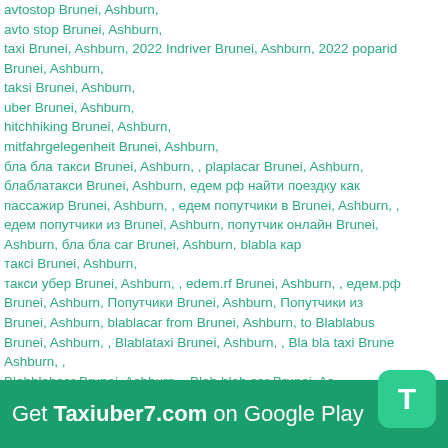avto stop Brunei, Ashburn,
avto stop Brunei, Ashburn,
taxi Brunei, Ashburn, 2022 Indriver Brunei, Ashburn, 2022 poparide Brunei, Ashburn,
taksi Brunei, Ashburn,
uber Brunei, Ashburn,
hitchhiking Brunei, Ashburn,
mitfahrgelegenheit Brunei, Ashburn,
бла бла такси Brunei, Ashburn, , plaplacar Brunei, Ashburn, блаблатакси Brunei, Ashburn, едем рф найти поездку как пассажир Brunei, Ashburn, , едем попутчики в Brunei, Ashburn, , едем попутчики из Brunei, Ashburn, попутчик онлайн Brunei, Ashburn, бла бла car Brunei, Ashburn, blabla кар
таксi Brunei, Ashburn,
такси убер Brunei, Ashburn, , edem.rf Brunei, Ashburn, , едем.рф Brunei, Ashburn, Попутчики Brunei, Ashburn, Попутчики из Brunei, Ashburn, blablacar from Brunei, Ashburn, to Blablabus Brunei, Ashburn, , Blablataxi Brunei, Ashburn, , Bla bla taxi Brunei, Ashburn, ,
Blahblahcar Brunei, Ashburn, , Blah blah car Brunei, Ashburn, , Blablacar bus Brunei, Ashburn, , Blablacar Brunei, Ashburn, bla bla car Brunei, Ashburn,
taxi Brunei, carpooling Brunei, taxi Ashburn, carpooling Ashburn, cargo, travel, covoiturage wizz air wizzair
Get Taxiuber7.com on Google Play